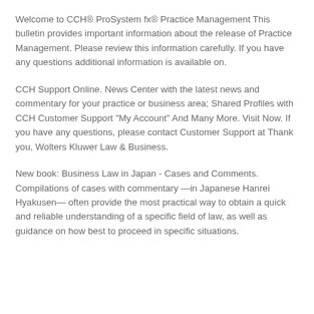Welcome to CCH® ProSystem fx® Practice Management This bulletin provides important information about the release of Practice Management. Please review this information carefully. If you have any questions additional information is available on.
CCH Support Online. News Center with the latest news and commentary for your practice or business area; Shared Profiles with CCH Customer Support "My Account" And Many More. Visit Now. If you have any questions, please contact Customer Support at Thank you, Wolters Kluwer Law & Business.
New book: Business Law in Japan - Cases and Comments. Compilations of cases with commentary —in Japanese Hanrei Hyakusen— often provide the most practical way to obtain a quick and reliable understanding of a specific field of law, as well as guidance on how best to proceed in specific situations.